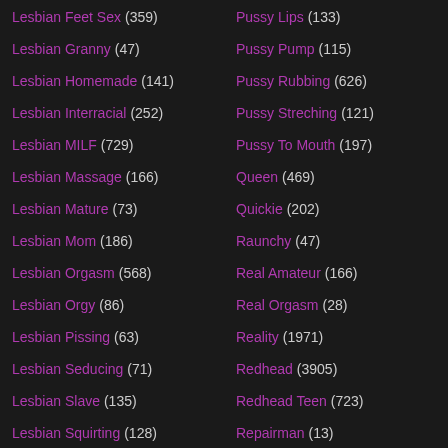Lesbian Feet Sex (359)
Lesbian Granny (47)
Lesbian Homemade (141)
Lesbian Interracial (252)
Lesbian MILF (729)
Lesbian Massage (166)
Lesbian Mature (73)
Lesbian Mom (186)
Lesbian Orgasm (568)
Lesbian Orgy (86)
Lesbian Pissing (63)
Lesbian Seducing (71)
Lesbian Slave (135)
Lesbian Squirting (128)
Lesbian Teacher (21)
Lesbian Teen (1122)
Pussy Lips (133)
Pussy Pump (115)
Pussy Rubbing (626)
Pussy Streching (121)
Pussy To Mouth (197)
Queen (469)
Quickie (202)
Raunchy (47)
Real Amateur (166)
Real Orgasm (28)
Reality (1971)
Redhead (3905)
Redhead Teen (723)
Repairman (13)
Restaurant (44)
Retro (426)